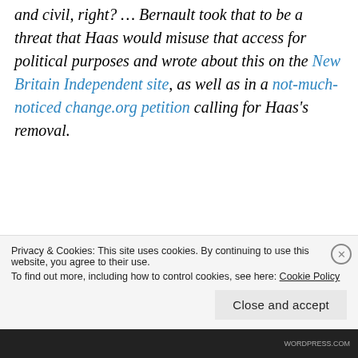and civil, right? … Bernault took that to be a threat that Haas would misuse that access for political purposes and wrote about this on the New Britain Independent site, as well as in a not-much-noticed change.org petition calling for Haas's removal.
Following this, a delisting request was sent to Google with a supposed Connecticut federal court order attached. But the judge who signed it (John
Privacy & Cookies: This site uses cookies. By continuing to use this website, you agree to their use.
To find out more, including how to control cookies, see here: Cookie Policy